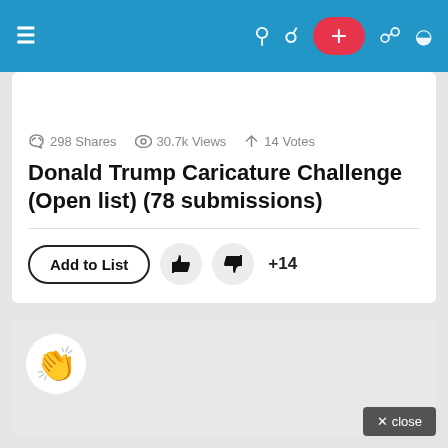Navigation bar with menu, search, user, add, cart, and dark mode icons
298 Shares  30.7k Views  14 Votes
Donald Trump Caricature Challenge (Open list) (78 submissions)
Add to List  👍 👎 +14
[Figure (other): Clapping hands emoji on a gray card background]